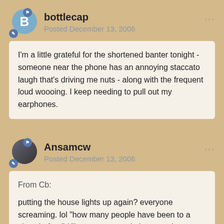bottlecap
Posted December 13, 2006
I'm a little grateful for the shortened banter tonight - someone near the phone has an annoying staccato laugh that's driving me nuts - along with the frequent loud woooing. I keep needing to pull out my earphones.
Ansamcw
Posted December 13, 2006
From Cb:

putting the house lights up again? everyone screaming. lol "how many people have been to a show before" / "how many people have not been to a show before" he stresses "by hands only" and everyone SCREAMS. LMAO! "whenever i say hands only, you ALWYAS scream!"